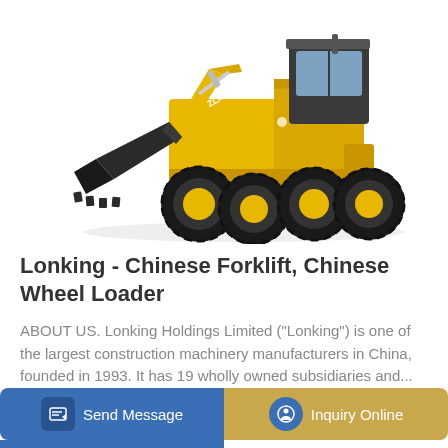[Figure (photo): Yellow Lonking wheel loader / front-end loader (model ZLM15B) with black cab, large bucket at front, four large black tires with yellow rims, photographed on white background.]
Lonking - Chinese Forklift, Chinese Wheel Loader
ABOUT US. Lonking Holdings Limited ("Lonking") is one of the largest construction machinery manufacturers in China, founded in 1993. It has 19 wholly owned subsidiaries and...
Send Message
Inquiry Online